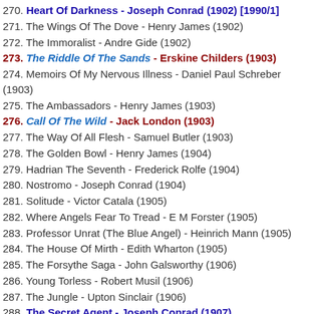270. Heart Of Darkness - Joseph Conrad (1902) [1990/1]
271. The Wings Of The Dove - Henry James (1902)
272. The Immoralist - Andre Gide (1902)
273. The Riddle Of The Sands - Erskine Childers (1903)
274. Memoirs Of My Nervous Illness - Daniel Paul Schreber (1903)
275. The Ambassadors - Henry James (1903)
276. Call Of The Wild - Jack London (1903)
277. The Way Of All Flesh - Samuel Butler (1903)
278. The Golden Bowl - Henry James (1904)
279. Hadrian The Seventh - Frederick Rolfe (1904)
280. Nostromo - Joseph Conrad (1904)
281. Solitude - Victor Catala (1905)
282. Where Angels Fear To Tread - E M Forster (1905)
283. Professor Unrat (The Blue Angel) - Heinrich Mann (1905)
284. The House Of Mirth - Edith Wharton (1905)
285. The Forsythe Saga - John Galsworthy (1906)
286. Young Torless - Robert Musil (1906)
287. The Jungle - Upton Sinclair (1906)
288. The Secret Agent - Joseph Conrad (1907)
289. Mother - Maxim Gorky (1907)